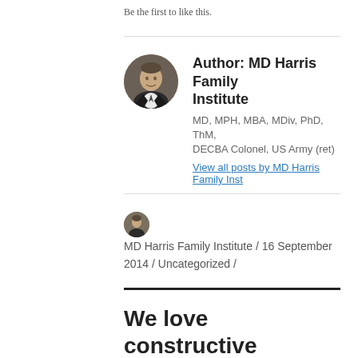Be the first to like this.
Author: MD Harris Family Institute
MD, MPH, MBA, MDiv, PhD, ThM, DECBA Colonel, US Army (ret)
View all posts by MD Harris Family Inst
MD Harris Family Institute / 16 September 2014 / Uncategorized /
We love constructive feedback! Please leave a